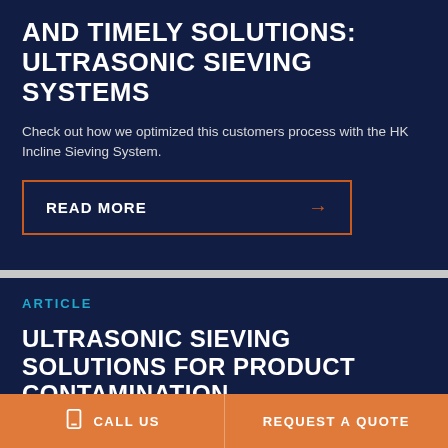AND TIMELY SOLUTIONS: ULTRASONIC SIEVING SYSTEMS
Check out how we optimized this customers process with the HK Incline Sieving System.
READ MORE →
ARTICLE
ULTRASONIC SIEVING SOLUTIONS FOR PRODUCT CONTAMINATION COMPLICATIONS
CALL US
REQUEST A QUOTE